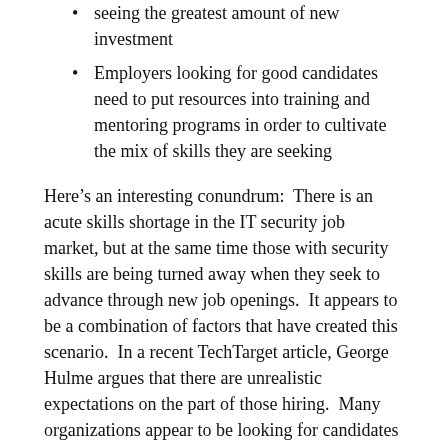seeing the greatest amount of new investment
Employers looking for good candidates need to put resources into training and mentoring programs in order to cultivate the mix of skills they are seeking
Here’s an interesting conundrum:  There is an acute skills shortage in the IT security job market, but at the same time those with security skills are being turned away when they seek to advance through new job openings.  It appears to be a combination of factors that have created this scenario.  In a recent TechTarget article, George Hulme argues that there are unrealistic expectations on the part of those hiring.  Many organizations appear to be looking for candidates with multiple talents.  Not only do they want specialists, they want candidates to be specialists in multiple areas, and they want those candidates to have some leadership skills or business acumen. Continue reading →